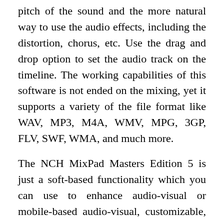pitch of the sound and the more natural way to use the audio effects, including the distortion, chorus, etc. Use the drag and drop option to set the audio track on the timeline. The working capabilities of this software is not ended on the mixing, yet it supports a variety of the file format like WAV, MP3, M4A, WMV, MPG, 3GP, FLV, SWF, WMA, and much more.
The NCH MixPad Masters Edition 5 is just a soft-based functionality which you can use to enhance audio-visual or mobile-based audio-visual, customizable, add-ons, optimization and maximization of audio-visual and sound self-simplicity. The vow making use of soft-sleeved abilities i possibly could manage a few